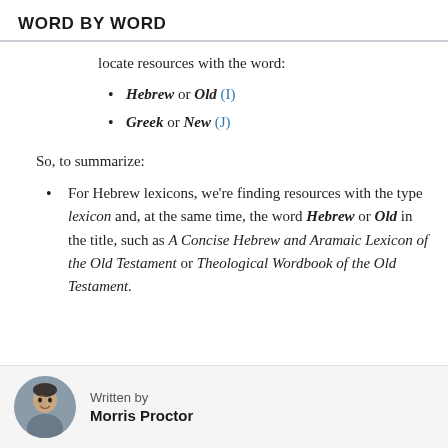WORD BY WORD
locate resources with the word:
Hebrew or Old (I)
Greek or New (J)
So, to summarize:
For Hebrew lexicons, we're finding resources with the type lexicon and, at the same time, the word Hebrew or Old in the title, such as A Concise Hebrew and Aramaic Lexicon of the Old Testament or Theological Wordbook of the Old Testament.
Written by Morris Proctor